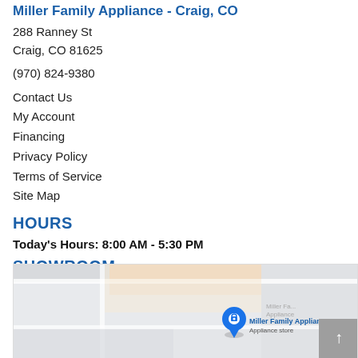Miller Family Appliance - Craig, CO
288 Ranney St
Craig, CO 81625
(970) 824-9380
Contact Us
My Account
Financing
Privacy Policy
Terms of Service
Site Map
HOURS
Today's Hours: 8:00 AM - 5:30 PM
SHOWROOM
[Figure (map): Google Maps embed showing Miller Family Appliance location at 288 Ranney St, Craig, CO. A blue location pin is visible with label 'Miller Family Appliance - Appliance store'.]